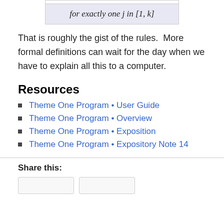That is roughly the gist of the rules.  More formal definitions can wait for the day when we have to explain all this to a computer.
Resources
Theme One Program • User Guide
Theme One Program • Overview
Theme One Program • Exposition
Theme One Program • Expository Note 14
Share this: